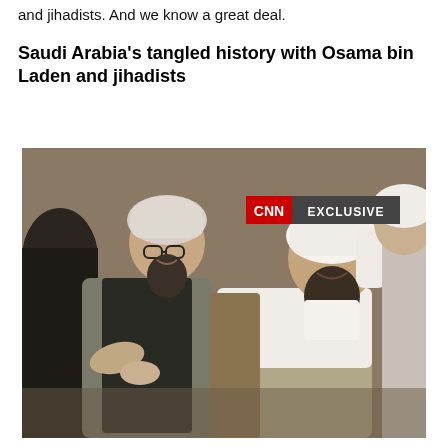and jihadists. And we know a great deal.
Saudi Arabia's tangled history with Osama bin Laden and jihadists
[Figure (photo): CNN Exclusive photo showing two men in traditional dress seated together, one wearing glasses and a turban, the other wearing a white keffiyeh with a beard, with a third figure partially visible on the right. CNN EXCLUSIVE badge visible in upper right corner of the photo.]